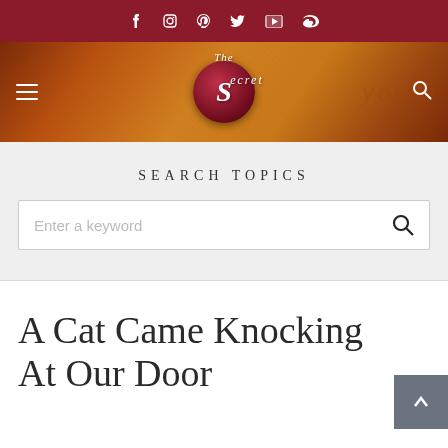Social media icons: Facebook, Instagram, Pinterest, Twitter, YouTube, Weibo
[Figure (screenshot): The Secret website header banner with logo — decorative warm orange/red textured background with cursive script watermark, hamburger menu icon on left, magnifying glass search icon on right, and The Secret circular logo (red sphere with white italic S) in the center]
Search Topics
Enter a keyword
A Cat Came Knocking At Our Door